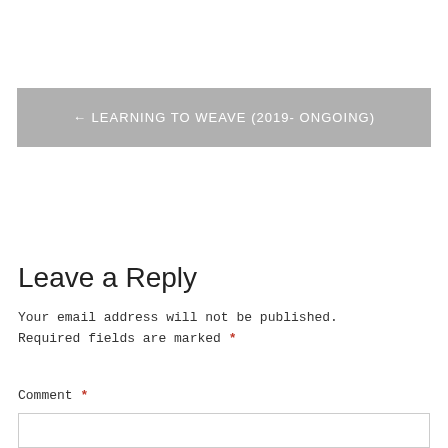← LEARNING TO WEAVE (2019- ONGOING)
Leave a Reply
Your email address will not be published. Required fields are marked *
Comment *